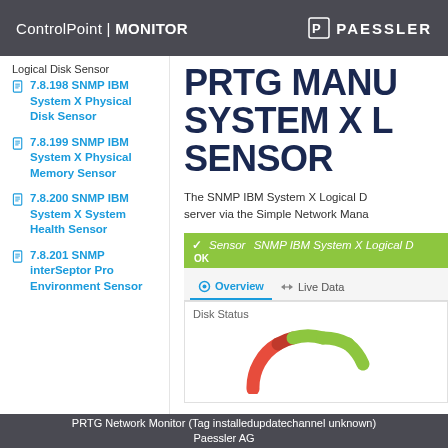ControlPoint | MONITOR   PAESSLER
Logical Disk Sensor
7.8.198 SNMP IBM System X Physical Disk Sensor
7.8.199 SNMP IBM System X Physical Memory Sensor
7.8.200 SNMP IBM System X System Health Sensor
7.8.201 SNMP interSeptor Pro Environment Sensor
PRTG MANUAL SYSTEM X LOGICAL SENSOR
The SNMP IBM System X Logical D... server via the Simple Network Mana...
[Figure (screenshot): PRTG sensor status bar showing 'Sensor SNMP IBM System X Logical D' with OK status, Overview and Live Data tabs, and a Disk Status gauge (partially visible donut chart in red and green).]
PRTG Network Monitor (Tag installedupdatechannel unknown)
Paessler AG